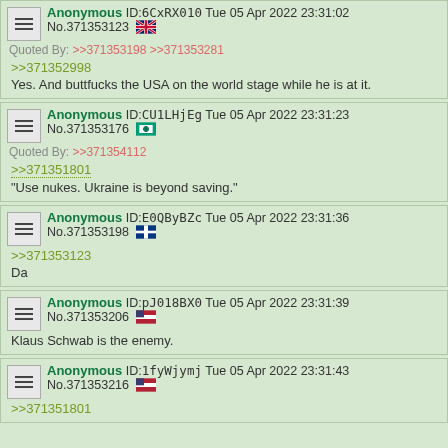Anonymous ID:6CxRX010 Tue 05 Apr 2022 23:31:02 No.371353123 [GB flag] Quoted By: >>371353198 >>371353281 >>371352998 Yes. And buttfucks the USA on the world stage while he is at it.
Anonymous ID:CU1LHjEg Tue 05 Apr 2022 23:31:23 No.371353176 [flag] Quoted By: >>371354112 >>371351801 "Use nukes. Ukraine is beyond saving."
Anonymous ID:E0QByBZc Tue 05 Apr 2022 23:31:36 No.371353198 [FI flag] >>371353123 Da
Anonymous ID:pJ018BX0 Tue 05 Apr 2022 23:31:39 No.371353206 [US flag] Klaus Schwab is the enemy.
Anonymous ID:1fyWjymj Tue 05 Apr 2022 23:31:43 No.371353216 [US flag] >>371351801